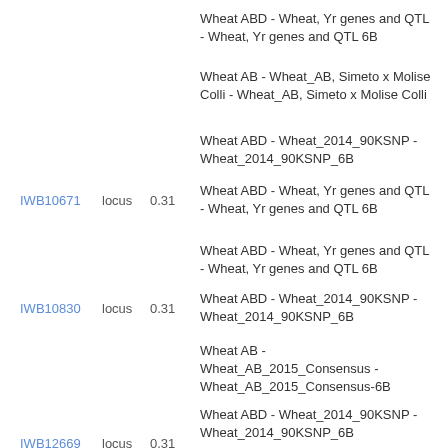Wheat ABD - Wheat, Yr genes and QTL - Wheat, Yr genes and QTL 6B
Wheat AB - Wheat_AB, Simeto x Molise Colli - Wheat_AB, Simeto x Molise Colli
Wheat ABD - Wheat_2014_90KSNP - Wheat_2014_90KSNP_6B
IWB10671  locus  0.31
Wheat ABD - Wheat, Yr genes and QTL - Wheat, Yr genes and QTL 6B
Wheat ABD - Wheat, Yr genes and QTL - Wheat, Yr genes and QTL 6B
IWB10830  locus  0.31
Wheat ABD - Wheat_2014_90KSNP - Wheat_2014_90KSNP_6B
Wheat AB - Wheat_AB_2015_Consensus - Wheat_AB_2015_Consensus-6B
Wheat ABD - Wheat_2014_90KSNP - Wheat_2014_90KSNP_6B
IWB12669  locus  0.31